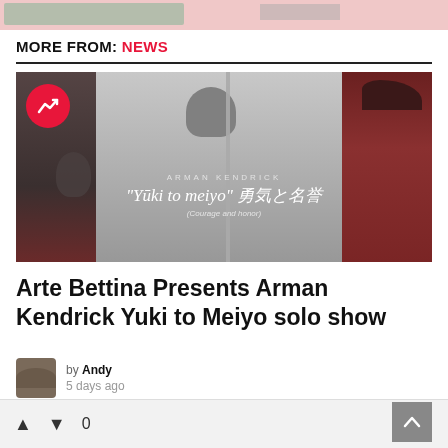[Figure (photo): Top banner image partial view with pink/gray background]
MORE FROM: NEWS
[Figure (photo): Article thumbnail showing samurai figurines with text 'ARMAN KENDRICK' and 'Yūki to meiyo' 勇気と名誉 (Courage and Honor). A red circular trending icon is overlaid top-left.]
Arte Bettina Presents Arman Kendrick Yuki to Meiyo solo show
by Andy
5 days ago
▲  ▼  0